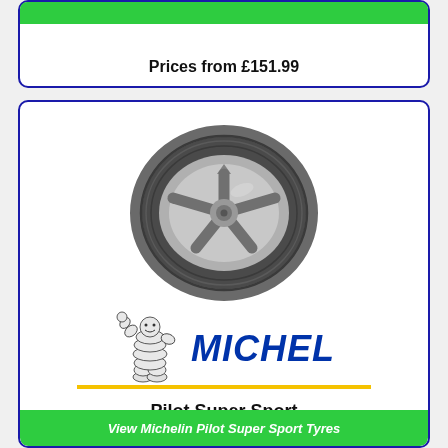Prices from £151.99
[Figure (illustration): Michelin Pilot Super Sport tyre photograph showing a performance sport tyre with alloy wheel]
[Figure (logo): Michelin logo with Bibendum mascot (Michelin Man) waving, and MICHELIN text in blue italic capitals with yellow underline]
Pilot Super Sport
3.8/5
View Michelin Pilot Super Sport Tyres